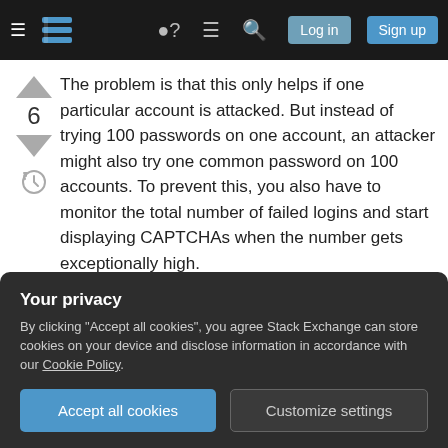Stack Exchange navigation bar with Log in and Sign up buttons
The problem is that this only helps if one particular account is attacked. But instead of trying 100 passwords on one account, an attacker might also try one common password on 100 accounts. To prevent this, you also have to monitor the total number of failed logins and start displaying CAPTCHAs when the number gets exceptionally high.
For user-friendliness, the failed logins should expire automatically after a while. It doesn't make sense to
attacker to send an arbitrary number of concurrent
Your privacy
By clicking "Accept all cookies", you agree Stack Exchange can store cookies on your device and disclose information in accordance with our Cookie Policy.
Accept all cookies   Customize settings